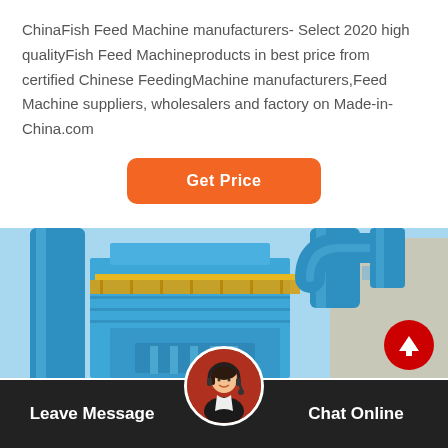ChinaFish Feed Machine manufacturers- Select 2020 high qualityFish Feed Machineproducts in best price from certified Chinese FeedingMachine manufacturers,Feed Machine suppliers, wholesalers and factory on Made-in-China.com
[Figure (other): Orange rounded button labeled 'Get Price']
[Figure (photo): Industrial blue fish feed machine equipment with large pipes, ducts, and yellow walkway platform against a sky background with a building visible on the right]
Leave Message
Chat Online